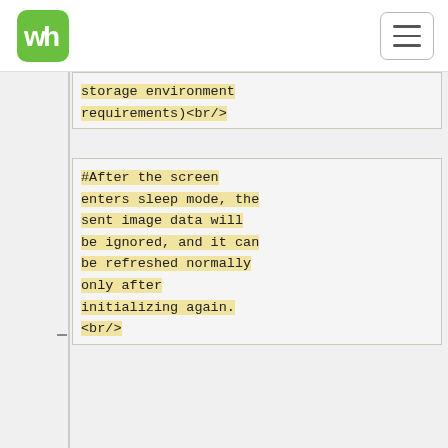[Figure (logo): Waveshare green logo mark in top-left navbar]
storage environment requirements)<br/>
#After the screen enters sleep mode, the sent image data will be ignored, and it can be refreshed normally only after initializing again.
<br/>
#Control the 0x3C or 0x50 (refer to the datasheet for details) register to adjust the border color. In the routine, you can adjust the Border Waveform Control register or VCOM AND